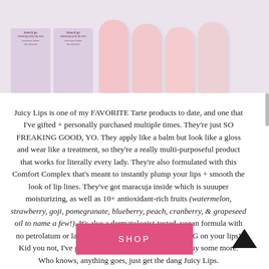[Figure (photo): Product image strip showing two Tarte 'brow & go' product boxes and four pink lip treatment tubes arranged on a light purple/pink background]
Juicy Lips is one of my FAVORITE Tarte products to date, and one that I've gifted + personally purchased multiple times. They're just SO FREAKING GOOD, YO. They apply like a balm but look like a gloss and wear like a treatment, so they're a really multi-purposeful product that works for literally every lady. They're also formulated with this Comfort Complex that's meant to instantly plump your lips + smooth the look of lip lines. They've got maracuja inside which is suuuper moisturizing, as well as 10+ antioxidant-rich fruits (watermelon, strawberry, goji, pomegranate, blueberry, peach, cranberry, & grapeseed oil to name a few!). It's also a dermatologist-tested, vegan formula with no petrolatum or lanolin – it seriously feels A-MAZ-ING on your lips! Kid you not, I've got 5 in my stash right now. Might buy some more. Who knows, anything goes, just get the dang Juicy Lips.
[Figure (other): Pink SHOP button]